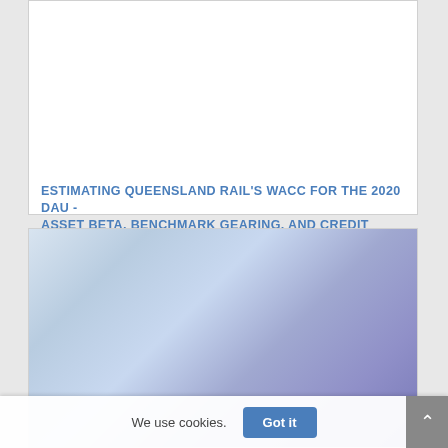[Figure (photo): Blank white image area at top of card]
ESTIMATING QUEENSLAND RAIL'S WACC FOR THE 2020 DAU - ASSET BETA, BENCHMARK GEARING, AND CREDIT RATING
Current Events   English
[Figure (photo): Partially visible image with blue/purple gradient tones at bottom of page]
We use cookies.
Got it